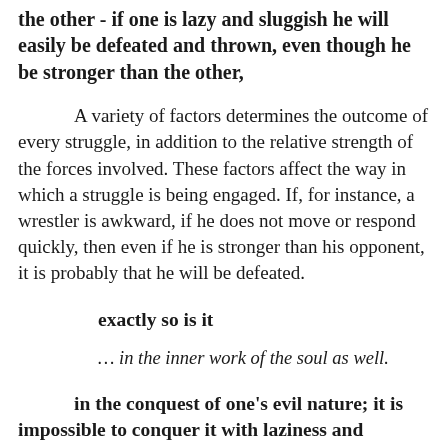the other - if one is lazy and sluggish he will easily be defeated and thrown, even though he be stronger than the other,
A variety of factors determines the outcome of every struggle, in addition to the relative strength of the forces involved. These factors affect the way in which a struggle is being engaged. If, for instance, a wrestler is awkward, if he does not move or respond quickly, then even if he is stronger than his opponent, it is probably that he will be defeated.
exactly so is it
… in the inner work of the soul as well.
in the conquest of one's evil nature; it is impossible to conquer it with laziness and heaviness, which originate in sadness and in a heart that is